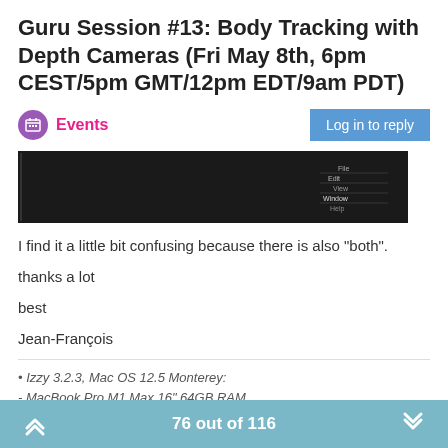Guru Session #13: Body Tracking with Depth Cameras (Fri May 8th, 6pm CEST/5pm GMT/12pm EDT/9am PDT)
Events
[Figure (screenshot): Dark screenshot of a software interface with menu items on the right side]
I find it a little bit confusing because there is also "both".
thanks a lot
best
Jean-François
• Izzy 3.2.3, Mac OS 12.5 Monterey:
- MacBook Pro M1 Max 16" 64GB RAM
• Izzy 3.2, Mac OS 10.14.6 (Mojave):
- Mac Pro 5.1 middle 2012 (3,33 GHz 6-Core Intel Xeon, 32GB RAM, Radeon RX 580 8 GB )
- MacBook Pro 2015 (16GB RAM) 2,8 GHz Intel Core i7;
76 out of 116